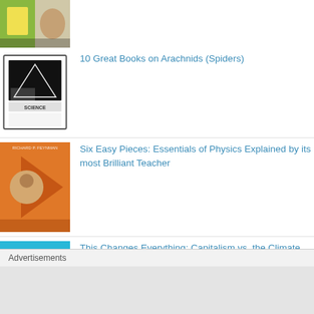[Figure (photo): Partial book cover visible at top, cropped]
10 Great Books on Arachnids (Spiders)
[Figure (illustration): Science book sketch illustration in black and white]
Six Easy Pieces: Essentials of Physics Explained by its most Brilliant Teacher
[Figure (photo): Six Easy Pieces book cover - orange with Feynman portrait]
This Changes Everything: Capitalism vs. the Climate
[Figure (photo): This Changes Everything book cover - blue with Naomi Klein text]
10 Great Books on the History of Medicine
[Figure (photo): Partial dark book cover visible at bottom]
Advertisements